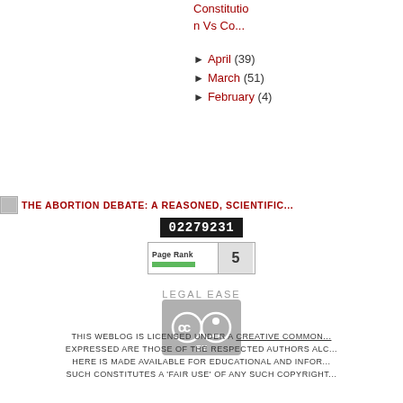Constitution Vs Co...
► April (39)
► March (51)
► February (4)
[Figure (other): Blog title banner: THE ABORTION DEBATE: A REASONED, SCIENTIFIC...]
[Figure (other): Site counter showing 02279231]
[Figure (other): Page Rank badge showing rank 5]
LEGAL EASE
[Figure (other): Creative Commons BY license badge]
THIS WEBLOG IS LICENSED UNDER A CREATIVE COMMON... EXPRESSED ARE THOSE OF THE RESPECTED AUTHORS ALC... HERE IS MADE AVAILABLE FOR EDUCATIONAL AND INFOR... SUCH CONSTITUTES A 'FAIR USE' OF ANY SUCH COPYRIGHT...